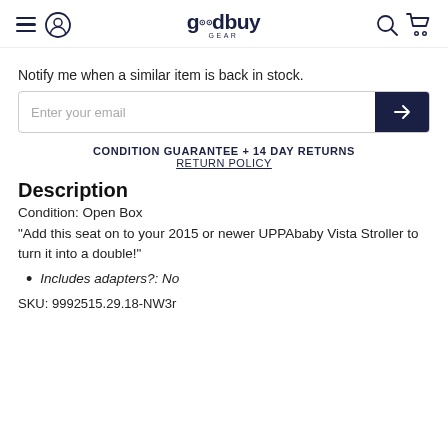goodbuy gear — navigation header with menu, account, search, cart icons
Notify me when a similar item is back in stock.
Enter your email
CONDITION GUARANTEE + 14 DAY RETURNS
RETURN POLICY
Description
Condition: Open Box
"Add this seat on to your 2015 or newer UPPAbaby Vista Stroller to turn it into a double!"
Includes adapters?: No
SKU: 9992515.29.18-NW3r